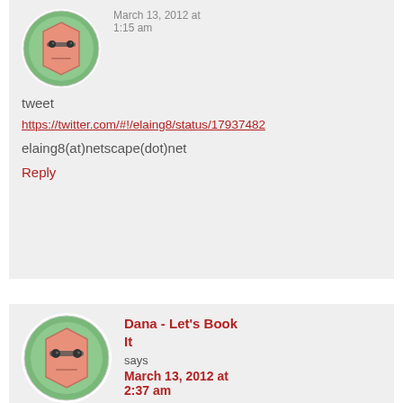[Figure (illustration): Avatar icon: cartoon face with glasses on green circular background]
March 13, 2012 at 1:15 am
tweet
https://twitter.com/#!/elaing8/status/17937482...
elaing8(at)netscape(dot)net
Reply
[Figure (illustration): Avatar icon: cartoon face with glasses on green circular background]
Dana - Let's Book It says March 13, 2012 at 2:37 am
fabulous